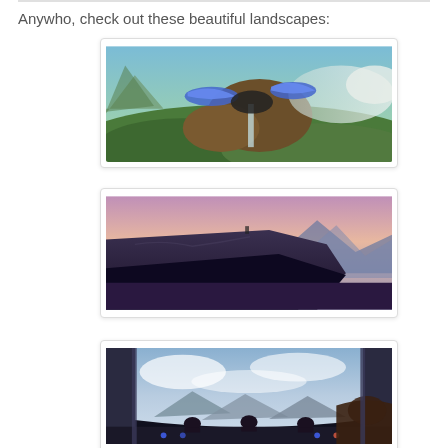Anywho, check out these beautiful landscapes:
[Figure (photo): Fantasy landscape with a large creature flying over green terrain with waterfalls and clouds, blue energy effects visible]
[Figure (photo): Dramatic cliff landscape with a large rocky overhang silhouetted against a pink and purple sunset sky, mountains in background]
[Figure (photo): View from inside a spacecraft or observation deck looking out at a mountainous landscape through a large curved window, with figures visible from behind]